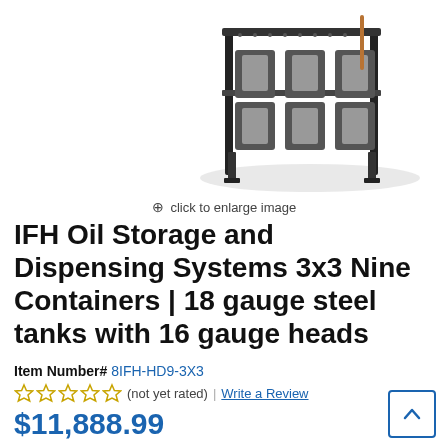[Figure (photo): Product photo of IFH Oil Storage and Dispensing Systems 3x3 Nine Containers unit, showing metal frame with multiple tanks, partially cropped at top]
click to enlarge image
IFH Oil Storage and Dispensing Systems 3x3 Nine Containers | 18 gauge steel tanks with 16 gauge heads
Item Number# 8IFH-HD9-3X3
(not yet rated) | Write a Review
$11,888.99